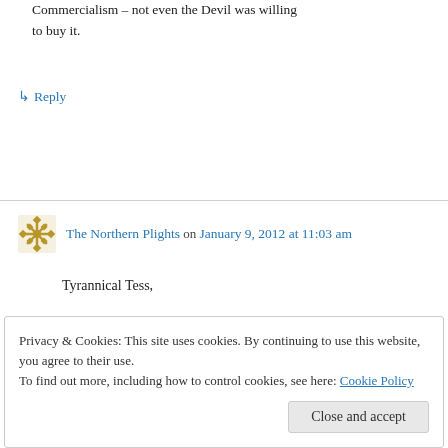Commercialism – not even the Devil was willing to buy it.
↳ Reply
The Northern Plights on January 9, 2012 at 11:03 am
Tyrannical Tess,
Privacy & Cookies: This site uses cookies. By continuing to use this website, you agree to their use.
To find out more, including how to control cookies, see here: Cookie Policy
Close and accept